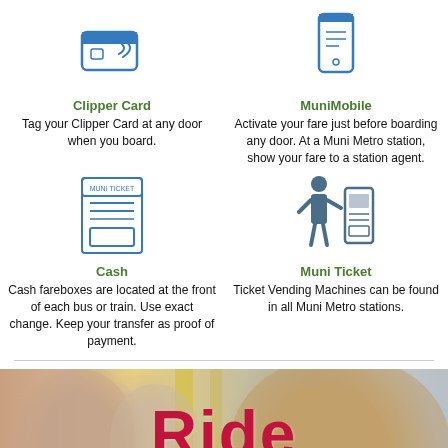[Figure (illustration): Icon of Clipper Card (tap card)]
Clipper Card
Tag your Clipper Card at any door when you board.
[Figure (illustration): Icon of MuniMobile (smartphone)]
MuniMobile
Activate your fare just before boarding any door.  At a Muni Metro station, show your fare to a station agent.
[Figure (illustration): Icon of a Muni Ticket (paper ticket)]
Cash
Cash fareboxes are located at the front of each bus or train. Use exact change. Keep your transfer as proof of payment.
[Figure (illustration): Icon of person at Ticket Vending Machine]
Muni Ticket
Ticket Vending Machines can be found in all Muni Metro stations.
[Figure (photo): Photo of transit riders on bus, man smiling in foreground, with large red 'Ride' text overlay]
Ride